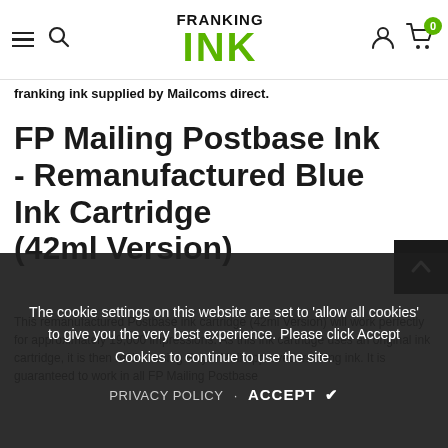[Figure (logo): Franking Ink logo with FRANKING text above bold green INK text]
franking ink supplied by Mailcoms direct.
FP Mailing Postbase Ink - Remanufactured Blue Ink Cartridge (42ml Version)
This remanufactured Postbase ink cartridge (42ml Version) will work perfectly for approximately 19,000 impressions. As this ink cartridge uses an original ink cartridge, it is then refilled using Royal Mail approved franking ink. It is guaranteed to work in all FP Mailing Postbase
The cookie settings on this website are set to 'allow all cookies' to give you the very best experience. Please click Accept Cookies to continue to use the site.
PRIVACY POLICY   ACCEPT ✔